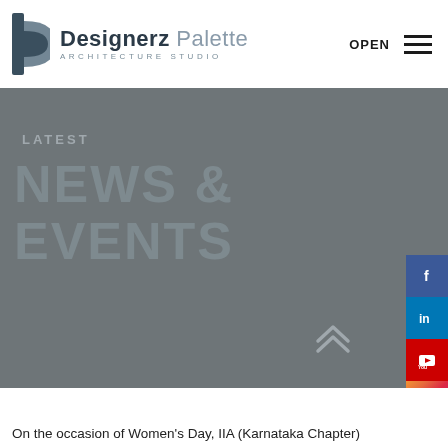[Figure (logo): Designerz Palette Architecture Studio logo with stylized D icon in dark blue/grey]
LATEST
NEWS & EVENTS
On the occasion of Women's Day, IIA (Karnataka Chapter)